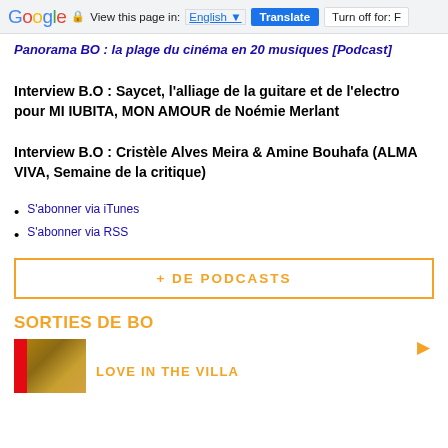Google — View this page in: English [▼] Translate Turn off for: F
Panorama BO : la plage du cinéma en 20 musiques [Podcast]
Interview B.O : Saycet, l'alliage de la guitare et de l'electro pour MI IUBITA, MON AMOUR de Noémie Merlant
Interview B.O : Cristèle Alves Meira & Amine Bouhafa (ALMA VIVA, Semaine de la critique)
S'abonner via iTunes
S'abonner via RSS
+ DE PODCASTS
SORTIES DE BO
[Figure (photo): Movie thumbnail with Netflix badge]
LOVE IN THE VILLA